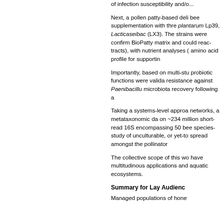of infection susceptibility and/o...
Next, a pollen patty-based deli... bee supplementation with thre... plantarum Lp39, Lacticaseibac... (LX3). The strains were confirm... BioPatty matrix and could reac... tracts), with nutrient analyses (... amino acid profile for supportin...
Importantly, based on multi-stu... probiotic functions were valida... resistance against Paenibacillu... microbiota recovery following a...
Taking a systems-level approa... networks, a metataxonomic da... on ~234 million short-read 16S... encompassing 50 bee species... study of unculturable, or yet-to... spread amongst the pollinator...
The collective scope of this wo... have multitudinous applications... and aquatic ecosystems.
Summary for Lay Audienc...
Managed populations of hone...